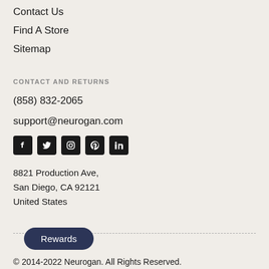Contact Us
Find A Store
Sitemap
CONTACT AND RETURNS
(858) 832-2065
support@neurogan.com
[Figure (infographic): Social media icons: Facebook, Twitter, Instagram, Pinterest, LinkedIn]
8821 Production Ave,
San Diego, CA 92121
United States
© 2014-2022 Neurogan. All Rights Reserved.